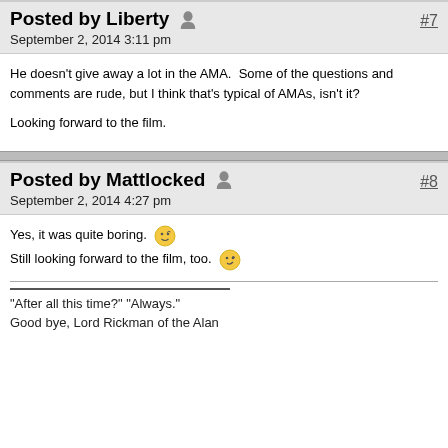Posted by Liberty [user icon] #7
September 2, 2014 3:11 pm
He doesn't give away a lot in the AMA.  Some of the questions and comments are rude, but I think that's typical of AMAs, isn't it?

Looking forward to the film.
Posted by Mattlocked [user icon] #8
September 2, 2014 4:27 pm
Yes, it was quite boring. [emoji]
Still looking forward to the film, too. [emoji]
"After all this time?" "Always."
Good bye, Lord Rickman of the Alan